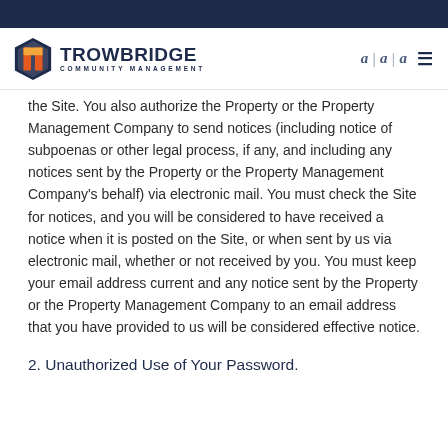[Figure (logo): Trowbridge Community Management logo with orange and blue shield icon and company name]
the Site. You also authorize the Property or the Property Management Company to send notices (including notice of subpoenas or other legal process, if any, and including any notices sent by the Property or the Property Management Company's behalf) via electronic mail. You must check the Site for notices, and you will be considered to have received a notice when it is posted on the Site, or when sent by us via electronic mail, whether or not received by you. You must keep your email address current and any notice sent by the Property or the Property Management Company to an email address that you have provided to us will be considered effective notice.
2. Unauthorized Use of Your Password.